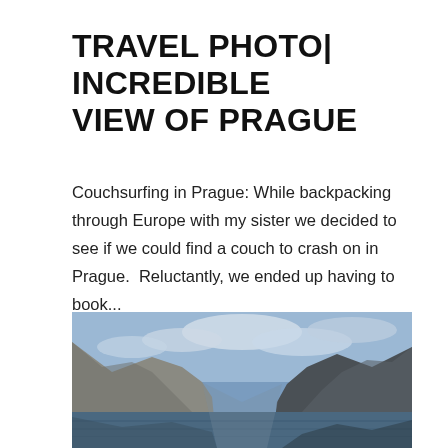TRAVEL PHOTO| INCREDIBLE VIEW OF PRAGUE
Couchsurfing in Prague: While backpacking through Europe with my sister we decided to see if we could find a couch to crash on in Prague.  Reluctantly, we ended up having to book...
Ian Yacobucci
[Figure (photo): Panoramic landscape photo showing a calm lake or fjord with steep rocky mountains on both sides converging into the distance, under a partly cloudy sky.]